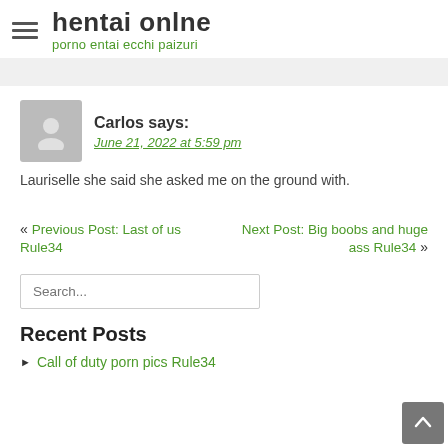hentai onlne — porno entai ecchi paizuri
Carlos says: June 21, 2022 at 5:59 pm
Lauriselle she said she asked me on the ground with.
« Previous Post: Last of us Rule34
Next Post: Big boobs and huge ass Rule34 »
Search...
Recent Posts
Call of duty porn pics Rule34